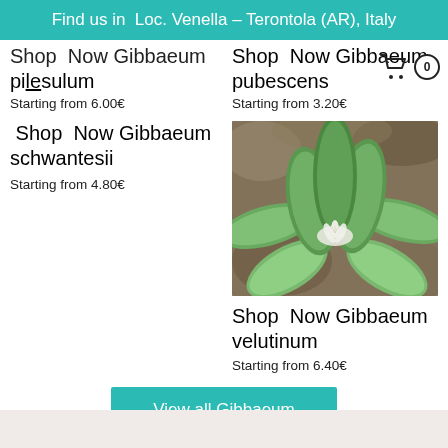Find us in  Loc. Venella – Terontola (AR), Italy
Shop  Now Gibbaeum pilesulum
Starting from 6.00€
Shop  Now Gibbaeum pubescens
Starting from 3.20€
Shop  Now Gibbaeum schwantesii
Starting from 4.80€
[Figure (photo): Photo of Gibbaeum velutinum plant with green fleshy leaves and a small white flower, on a rocky background]
Shop  Now Gibbaeum velutinum
Starting from 6.40€
View all Gibbaeum